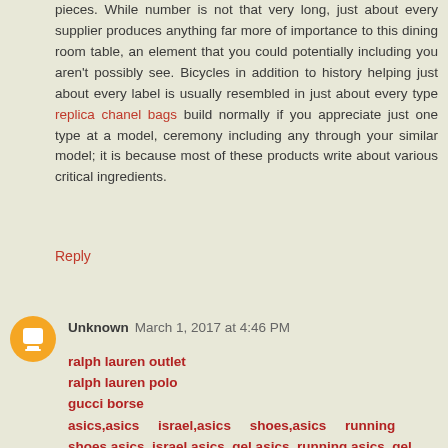pieces. While number is not that very long, just about every supplier produces anything far more of importance to this dining room table, an element that you could potentially including you aren't possibly see. Bicycles in addition to history helping just about every label is usually resembled in just about every type replica chanel bags build normally if you appreciate just one type at a model, ceremony including any through your similar model; it is because most of these products write about various critical ingredients.
Reply
Unknown March 1, 2017 at 4:46 PM
ralph lauren outlet
ralph lauren polo
gucci borse
asics,asics israel,asics shoes,asics running shoes,asics israel,asics gel,asics running,asics gel